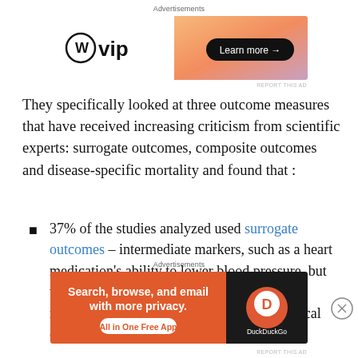[Figure (other): WordPress VIP advertisement banner with 'Learn more' button on orange gradient background]
They specifically looked at three outcome measures that have received increasing criticism from scientific experts: surrogate outcomes, composite outcomes and disease-specific mortality and found that :
37% of the studies analyzed used surrogate outcomes – intermediate markers, such as a heart medication's ability to lower blood pressure, but which may not be a good indicator of the medication's impact on more important clinical outcomes, like heart attacks
[Figure (other): DuckDuckGo advertisement banner: 'Search, browse, and email with more privacy. All in One Free App']